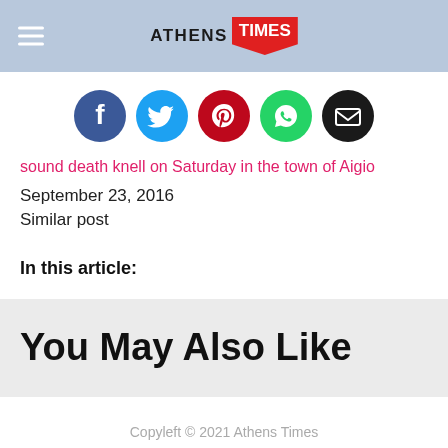ATHENS TIMES
[Figure (infographic): Social share icons: Facebook (blue circle), Twitter (light blue circle), Pinterest (red circle), WhatsApp (green circle), Email (black circle)]
sound death knell on Saturday in the town of Aigio
September 23, 2016
Similar post
In this article:
You May Also Like
Copyleft © 2021 Athens Times